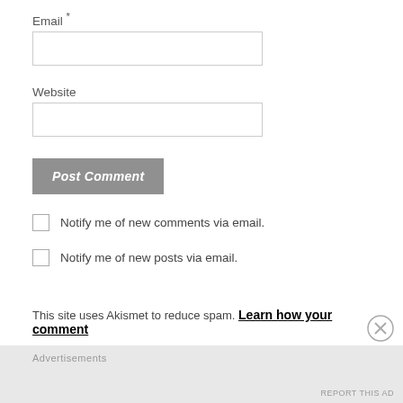Email *
[Figure (other): Empty email input text field]
Website
[Figure (other): Empty website input text field]
[Figure (other): Post Comment button (gray background, italic bold white text)]
Notify me of new comments via email.
Notify me of new posts via email.
This site uses Akismet to reduce spam. Learn how your comment
Advertisements